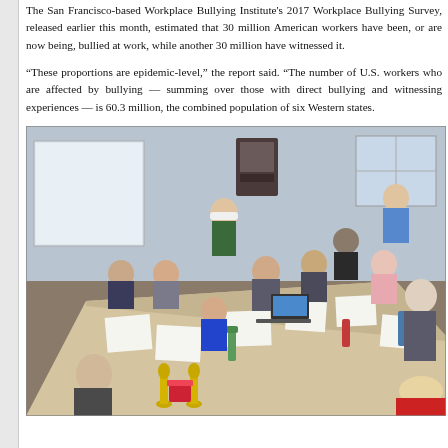The San Francisco-based Workplace Bullying Institute's 2017 Workplace Bullying Survey, released earlier this month, estimated that 30 million American workers have been, or are now being, bullied at work, while another 30 million have witnessed it.
“These proportions are epidemic-level,” the report said. “The number of U.S. workers who are affected by bullying — summing over those with direct bullying and witnessing experiences — is 60.3 million, the combined population of six Western states.
[Figure (photo): Group of people seated and standing around a conference table in a meeting room. One person stands at the head wearing a white cap and green sweater. A facilitator stands at the back right. Papers, notepads, and water bottles are on the table. Two Oscar statuettes and a decorated cake are visible in the foreground.]